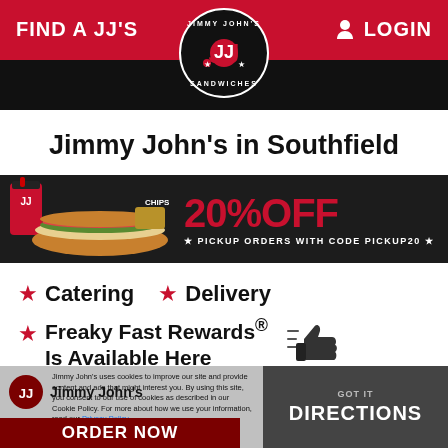FIND A JJ'S | Jimmy John's Logo | LOGIN
Jimmy John's in Southfield
[Figure (infographic): Jimmy John's promotional banner: food items on left, '20% OFF PICKUP ORDERS WITH CODE PICKUP20' on right]
★ Catering  ★ Delivery
★ Freaky Fast Rewards® Is Available Here
Jimmy John's uses cookies to improve our site and provide content and ads that might interest you. By using this site, you consent to our use of cookies as described in our Cookie Policy. For more about how we use your information, read our Privacy Policy
ORDER NOW | DIRECTIONS